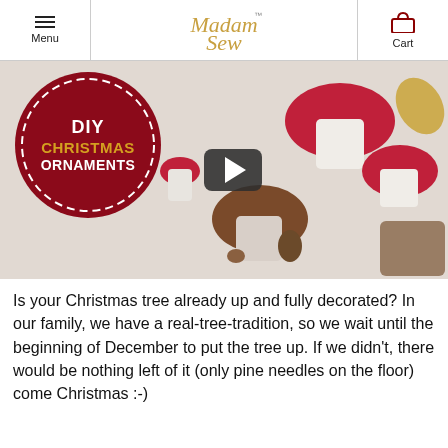Menu | Madam Sew | Cart
[Figure (screenshot): Video thumbnail showing fabric mushroom Christmas ornaments on white background with a dark red circular badge reading 'DIY CHRISTMAS ORNAMENTS' and a play button overlay]
Is your Christmas tree already up and fully decorated? In our family, we have a real-tree-tradition, so we wait until the beginning of December to put the tree up. If we didn't, there would be nothing left of it (only pine needles on the floor) come Christmas :-)